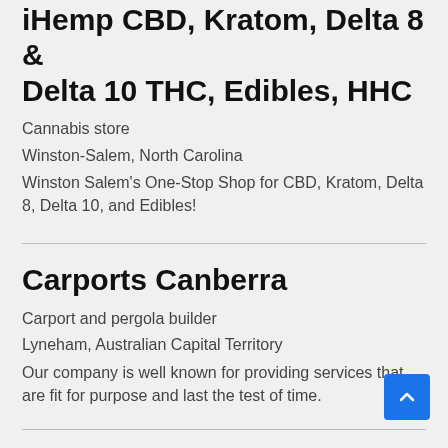iHemp CBD, Kratom, Delta 8 & Delta 10 THC, Edibles, HHC
Cannabis store
Winston-Salem, North Carolina
Winston Salem's One-Stop Shop for CBD, Kratom, Delta 8, Delta 10, and Edibles!
Carports Canberra
Carport and pergola builder
Lyneham, Australian Capital Territory
Our company is well known for providing services that are fit for purpose and last the test of time.